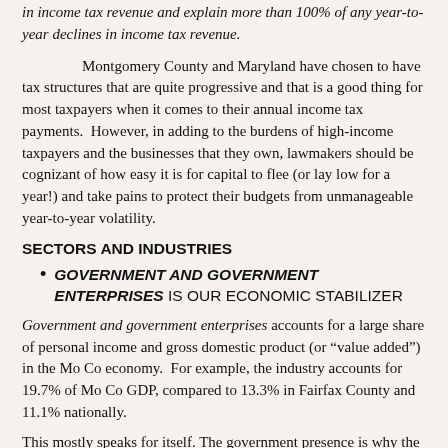in income tax revenue and explain more than 100% of any year-to-year declines in income tax revenue.
Montgomery County and Maryland have chosen to have tax structures that are quite progressive and that is a good thing for most taxpayers when it comes to their annual income tax payments. However, in adding to the burdens of high-income taxpayers and the businesses that they own, lawmakers should be cognizant of how easy it is for capital to flee (or lay low for a year!) and take pains to protect their budgets from unmanageable year-to-year volatility.
SECTORS AND INDUSTRIES
GOVERNMENT AND GOVERNMENT ENTERPRISES IS OUR ECONOMIC STABILIZER
Government and government enterprises accounts for a large share of personal income and gross domestic product (or "value added") in the Mo Co economy. For example, the industry accounts for 19.7% of Mo Co GDP, compared to 13.3% in Fairfax County and 11.1% nationally.
This mostly speaks for itself. The government presence is why the troughs are never as deep and the peaks are never as high as they are elsewhere; it is possible that this is why